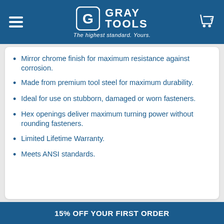[Figure (logo): Gray Tools logo with shopping cart icon and tagline 'The highest standard. Yours.' on a dark blue header bar]
Mirror chrome finish for maximum resistance against corrosion.
Made from premium tool steel for maximum durability.
Ideal for use on stubborn, damaged or worn fasteners.
Hex openings deliver maximum turning power without rounding fasteners.
Limited Lifetime Warranty.
Meets ANSI standards.
15% OFF YOUR FIRST ORDER